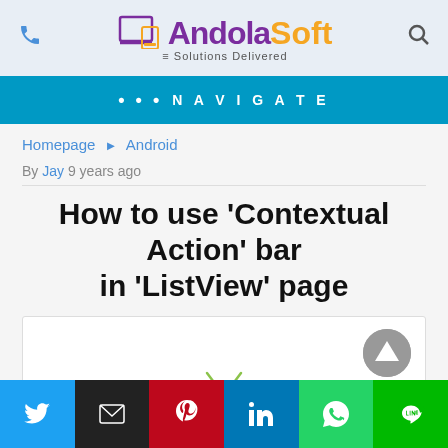AndolaSoft Solutions Delivered
••• NAVIGATE
Homepage ► Android
By Jay 9 years ago
How to use 'Contextual Action' bar in 'ListView' page
[Figure (screenshot): Article content area with Android robot logo and scroll-to-top button]
[Figure (infographic): Social share bar with Twitter, Email, Pinterest, LinkedIn, WhatsApp, and LINE buttons]